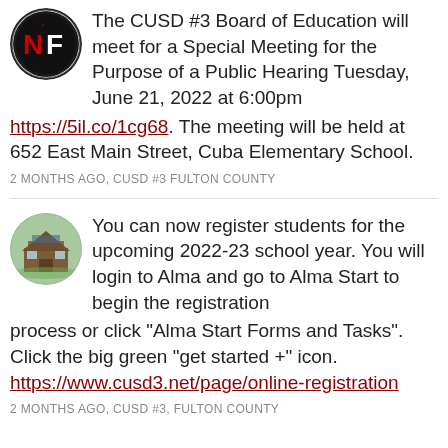The CUSD #3 Board of Education will meet for a Special Meeting for the Purpose of a Public Hearing Tuesday, June 21, 2022 at 6:00pm https://5il.co/1cg68. The meeting will be held at 652 East Main Street, Cuba Elementary School.
2 MONTHS AGO, CUSD #3 FULTON COUNTY
You can now register students for the upcoming 2022-23 school year. You will login to Alma and go to Alma Start to begin the registration process or click "Alma Start Forms and Tasks". Click the big green “get started +” icon. https://www.cusd3.net/page/online-registration
2 MONTHS AGO, CUSD #3, FULTON COUNTY